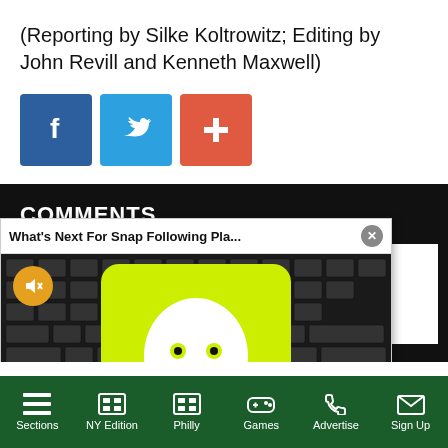(Reporting by Silke Koltrowitz; Editing by John Revill and Kenneth Maxwell)
[Figure (infographic): Three social share buttons: Facebook (blue), Twitter (light blue), and a red plus/share button]
COMMENTS
[Figure (screenshot): Video popup overlay titled 'What's Next For Snap Following Pla...' with a close button, showing a Snapchat logo on a phone on a keyboard. A muted (orange) button is visible. Partial text to the right reads 'ions are' and 'our guidelines'.]
Sections | NY Edition | Philly | Games | Advertise | Sign Up